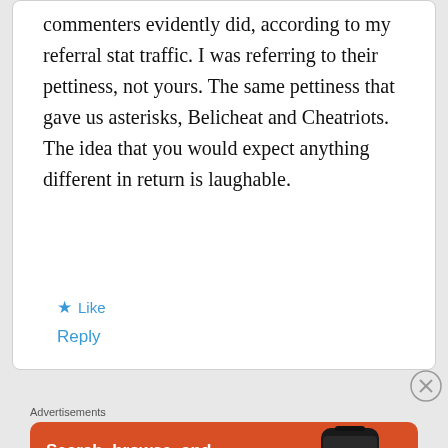commenters evidently did, according to my referral stat traffic. I was referring to their pettiness, not yours. The same pettiness that gave us asterisks, Belicheat and Cheatriots. The idea that you would expect anything different in return is laughable.
★ Like
Reply
Advertisements
[Figure (illustration): DuckDuckGo advertisement banner with orange background. Text reads: Search, browse, and email with more privacy. All in One Free App. Shows a smartphone with the DuckDuckGo logo and wordmark.]